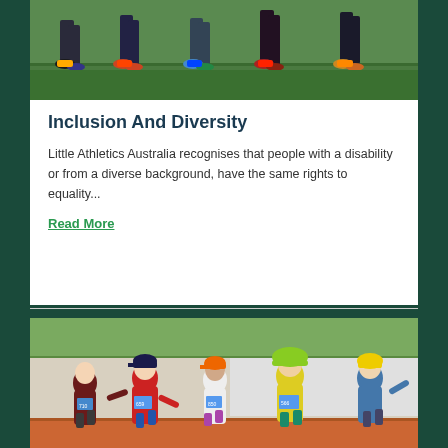[Figure (photo): Close-up of children's legs running on a green athletic track, wearing colorful athletic shoes]
Inclusion And Diversity
Little Athletics Australia recognises that people with a disability or from a diverse background, have the same rights to equality...
Read More
[Figure (photo): Group of young children in athletic race bibs running and smiling on a track, wearing caps and colorful clothing]